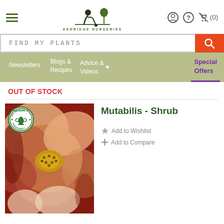Ashridge Nurseries — navigation header with logo, hamburger menu, user/help/cart icons
FIND MY PLANTS
Newsletters | Blogs & Recipes | Advice & Videos | Special Offers
OUT OF STOCK
Mutabilis - Shrub
Add to Wishlist
Add to Compare
[Figure (photo): Close-up photograph of a Mutabilis shrub rose flower with pink/peach/red petals and golden stamens, with an RHS Award of Garden Merit badge overlaid in the top-left corner.]